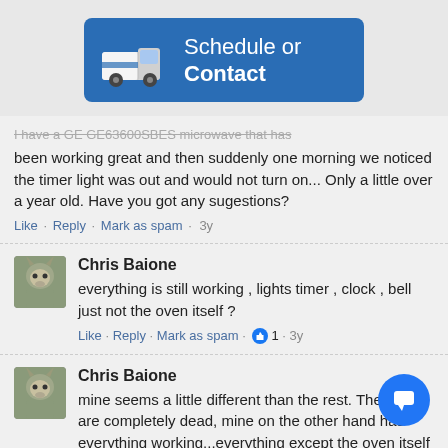[Figure (other): Blue banner button with a delivery van image and text 'Schedule or Contact']
...been working great and then suddenly one morning we noticed the timer light was out and would not turn on... Only a little over a year old. Have you got any sugestions?
Like · Reply · Mark as spam · 3y
Chris Baione
everything is still working , lights timer , clock , bell just not the oven itself ?
Like · Reply · Mark as spam · 👍 1 · 3y
Chris Baione
mine seems a little different than the rest. They all are completely dead, mine on the other hand has everything working...everything except the oven itself .